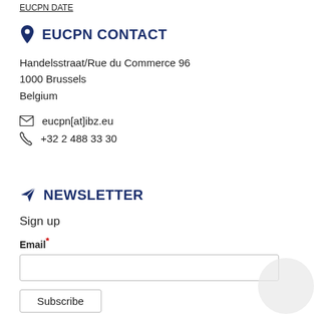EUCPN CONTACT
Handelsstraat/Rue du Commerce 96
1000 Brussels
Belgium
eucpn[at]ibz.eu
+32 2 488 33 30
NEWSLETTER
Sign up
Email*
Subscribe